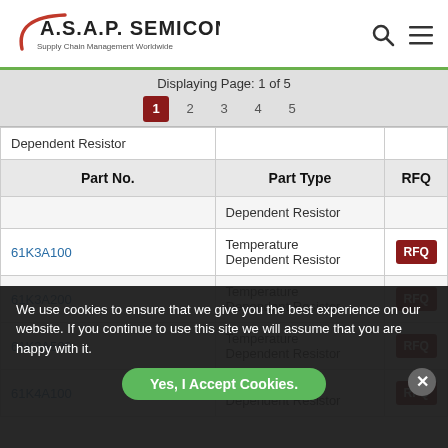A.S.A.P. SEMICONDUCTOR Supply Chain Management Worldwide
Displaying Page: 1 of 5
Page numbers: 1 2 3 4 5
| Part No. | Part Type | RFQ |
| --- | --- | --- |
|  | Dependent Resistor |  |
| 61K3A100 | Temperature Dependent Resistor | RFQ |
| 61K3A200 | Temperature Dependent Resistor | RFQ |
| 61K3A500 | Temperature Dependent Resistor | RFQ |
| 61K4A100 | Temperature Dependent Resistor | RFQ |
We use cookies to ensure that we give you the best experience on our website. If you continue to use this site we will assume that you are happy with it.
Yes, I Accept Cookies.